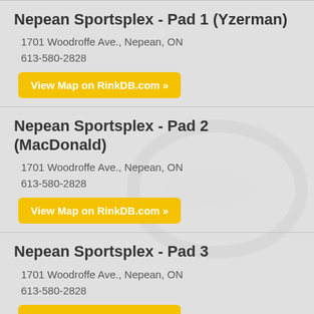Nepean Sportsplex - Pad 1 (Yzerman)
1701 Woodroffe Ave., Nepean, ON
613-580-2828
View Map on RinkDB.com »
Nepean Sportsplex - Pad 2 (MacDonald)
1701 Woodroffe Ave., Nepean, ON
613-580-2828
View Map on RinkDB.com »
Nepean Sportsplex - Pad 3
1701 Woodroffe Ave., Nepean, ON
613-580-2828
View Map on RinkDB.com »